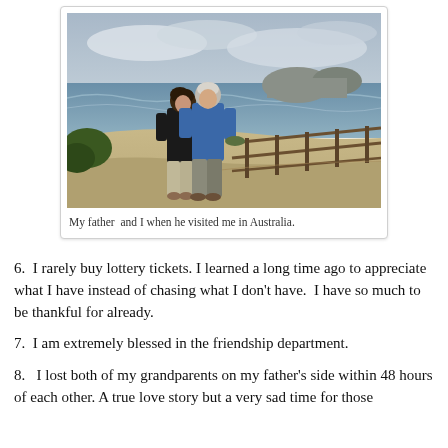[Figure (photo): A woman and an older man standing together on a beach boardwalk with ocean and sandy beach in the background under a cloudy sky.]
My father  and I when he visited me in Australia.
6.  I rarely buy lottery tickets. I learned a long time ago to appreciate what I have instead of chasing what I don't have.  I have so much to be thankful for already.
7.  I am extremely blessed in the friendship department.
8.  I lost both of my grandparents on my father's side within 48 hours of each other. A true love story but a very sad time for those